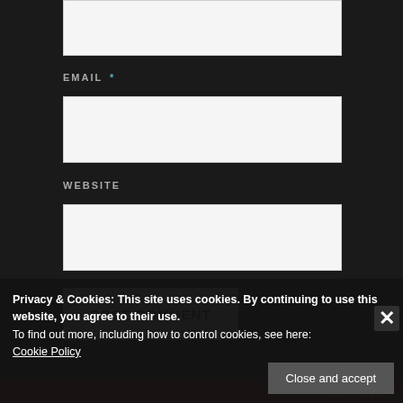[Figure (screenshot): Top portion of a web comment form input box (partially visible at top)]
EMAIL *
[Figure (screenshot): Email input text field (white/light background)]
WEBSITE
[Figure (screenshot): Website input text field (white/light background)]
POST COMMENT
Privacy & Cookies: This site uses cookies. By continuing to use this website, you agree to their use.
To find out more, including how to control cookies, see here:
Cookie Policy
Close and accept